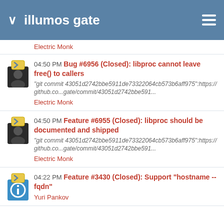illumos gate
Electric Monk
04:50 PM Bug #6956 (Closed): libproc cannot leave free() to callers
"git commit 43051d2742bbe5911de73322064cb573b6aff975":https://github.co...gate/commit/43051d2742bbe591...
Electric Monk
04:50 PM Feature #6955 (Closed): libproc should be documented and shipped
"git commit 43051d2742bbe5911de73322064cb573b6aff975":https://github.co...gate/commit/43051d2742bbe591...
Electric Monk
04:22 PM Feature #3430 (Closed): Support "hostname --fqdn"
Yuri Pankov